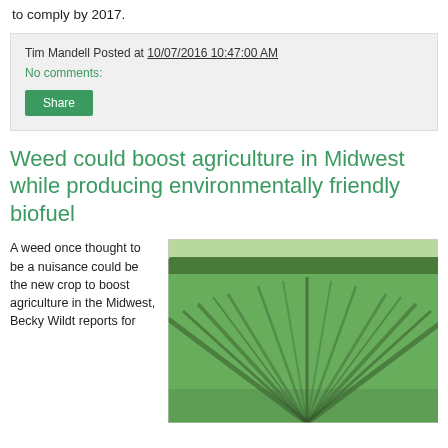to comply by 2017.
Tim Mandell Posted at 10/07/2016 10:47:00 AM
No comments:
Share
Weed could boost agriculture in Midwest while producing environmentally friendly biofuel
A weed once thought to be a nuisance could be the new crop to boost agriculture in the Midwest, Becky Wildt reports for
[Figure (photo): Agricultural field showing rows of green crops growing in parallel lines, with trees visible in the background.]